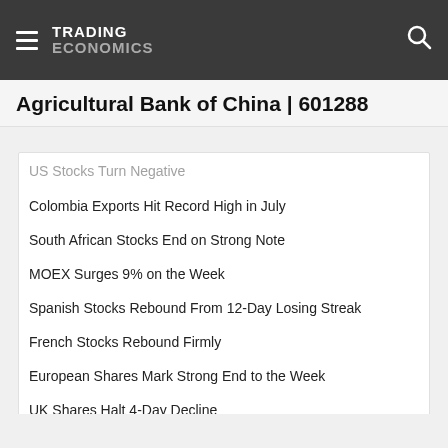TRADING ECONOMICS
Agricultural Bank of China | 601288
US Stocks Turn Negative
Colombia Exports Hit Record High in July
South African Stocks End on Strong Note
MOEX Surges 9% on the Week
Spanish Stocks Rebound From 12-Day Losing Streak
French Stocks Rebound Firmly
European Shares Mark Strong End to the Week
UK Shares Halt 4-Day Decline
Italian Stocks Rebound Sharply